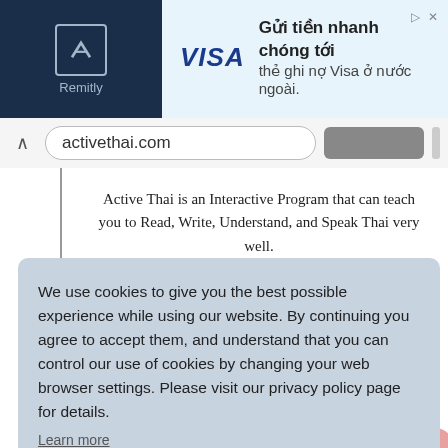[Figure (screenshot): Advertisement banner for Remitly/Visa showing Vietnamese text 'Gửi tiền nhanh chóng tới thẻ ghi nợ Visa ở nước ngoài.']
[Figure (screenshot): Browser address bar showing activethai.com]
Active Thai is an Interactive Program that can teach you to Read, Write, Understand, and Speak Thai very well.
We use cookies to give you the best possible experience while using our website. By continuing you agree to accept them, and understand that you can control our use of cookies by changing your web browser settings. Please visit our privacy policy page for details.
Learn more
Got it!
Appetizers